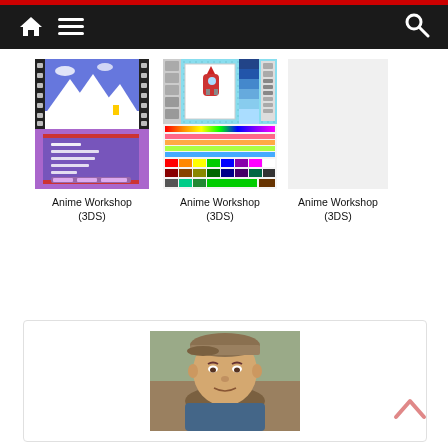Navigation bar with home, menu, and search icons
[Figure (screenshot): Anime Workshop 3DS game screenshot showing animation with snowy mountain scene and film strip border, plus menu overlay]
Anime Workshop (3DS)
[Figure (screenshot): Anime Workshop 3DS screenshot showing drawing/painting interface with rocket sprite and color gradient tool]
Anime Workshop (3DS)
[Figure (screenshot): Anime Workshop 3DS screenshot (third, not shown/blank)]
Anime Workshop (3DS)
[Figure (photo): Selfie photo of a man wearing a cap, outdoors with rocks/dirt in the background]